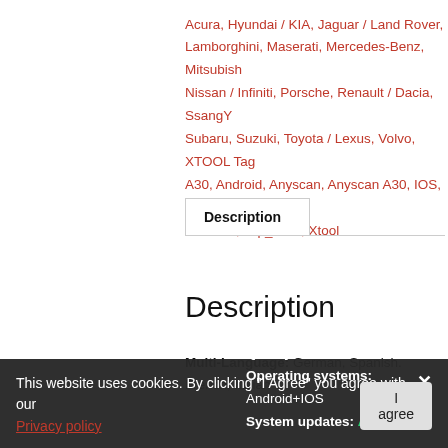Acura, Hyundai / KIA, Jaguar / Land Rover, Lamborghini, Maserati, Mercedes-Benz, Mitsubishi, Nissan / Infiniti, Porsche, Renault / Dacia, SsangYong, Subaru, Suzuki, Toyota / Lexus, Volvo, XTOOL Tags: A30, Android, Anyscan, Anyscan A30, IOS, OBD2, Genuine, Top_tools, Xtool
Description
Description
Multi-Language: German, Spanish. French, Italian
Quality: Genuine
Operating systems: Android+IOS
System updates: Available
This website uses cookies. By clicking "I Agree" you agree with our Privacy policy